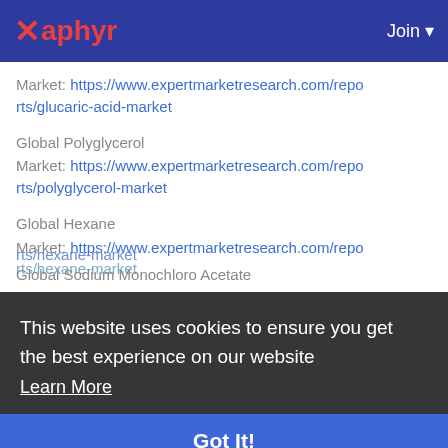Xaphyr | Join
Market: https://www.expertmarketresearch.com/reports/glucaric-acid-market
Global Polyglycerol Market: https://www.expertmarketresearch.com/reports/polyglycerol-market
Global Hexane Market: https://www.expertmarketresearch.com/reports/hexane-market
This website uses cookies to ensure you get the best experience on our website Learn More
Got It!
Global Sodium Monoacetate Market: https://www.expertmarketresearch.com/repo...